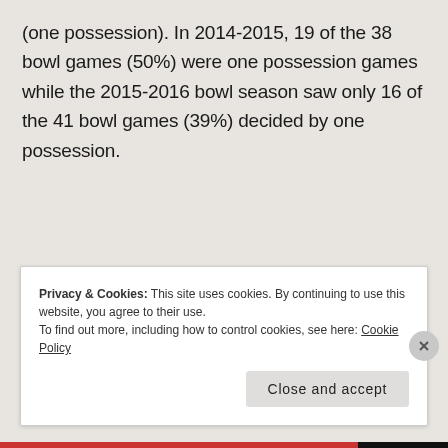(one possession). In 2014-2015, 19 of the 38 bowl games (50%) were one possession games while the 2015-2016 bowl season saw only 16 of the 41 bowl games (39%) decided by one possession.
Privacy & Cookies: This site uses cookies. By continuing to use this website, you agree to their use.
To find out more, including how to control cookies, see here: Cookie Policy